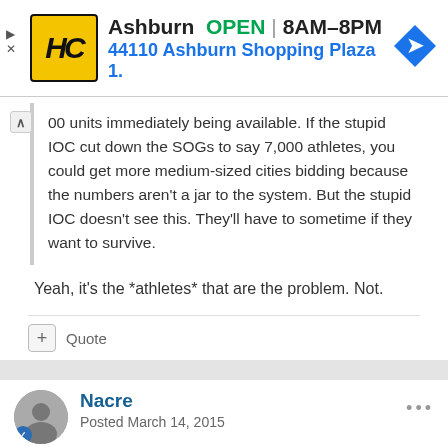[Figure (infographic): Advertisement banner for Hairclub (HC) in Ashburn. Shows logo, OPEN status, hours 8AM-8PM, and address 44110 Ashburn Shopping Plaza 1. Navigation icon on right.]
00 units immediately being available. If the stupid IOC cut down the SOGs to say 7,000 athletes, you could get more medium-sized cities bidding because the numbers aren't a jar to the system. But the stupid IOC doesn't see this. They'll have to sometime if they want to survive.
Yeah, it's the *athletes* that are the problem. Not.
+ Quote
Nacre
Posted March 14, 2015
The athletics tournament itself is not the problem. It's the